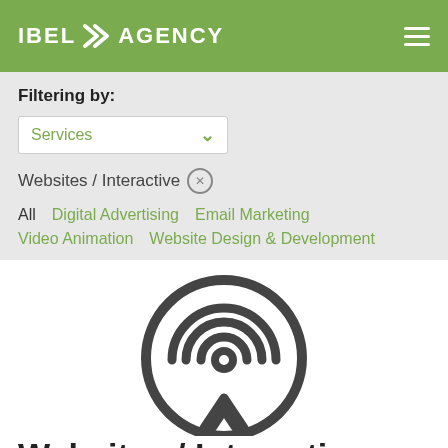IBEL >> AGENCY
Filtering by:
Services
Websites / Interactive
All
Digital Advertising
Email Marketing
Video Animation
Website Design & Development
[Figure (logo): Circular radio/broadcast tower icon with concentric arcs and an arrow/chevron shape pointing up, rendered in dark gray]
Websites / Interactive